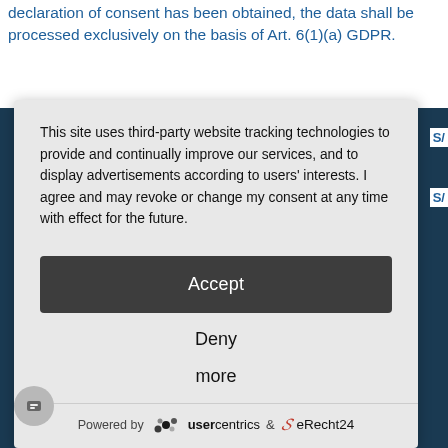declaration of consent has been obtained, the data shall be processed exclusively on the basis of Art. 6(1)(a) GDPR.
This site uses third-party website tracking technologies to provide and continually improve our services, and to display advertisements according to users' interests. I agree and may revoke or change my consent at any time with effect for the future.
Accept
Deny
more
Powered by usercentrics & eRecht24
COLOUR IS OUR NATURE
POWDER COATINGS FOR INDUSTRY AND ARCHITECTURE